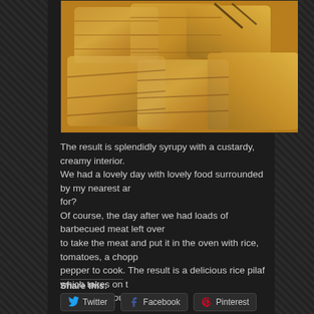[Figure (photo): Close-up photo of golden-brown pastry items, possibly baklava or spring rolls with a syrupy, layered appearance]
The result is splendidly syrupy with a custardy, creamy interior. We had a lovely day with lovely food surrounded by my nearest ar for? Of course, the day after we had loads of barbecued meat left over to take the meat and put it in the oven with rice, tomatoes, a chopp pepper to cook. The result is a delicious rice pilaf which takes on t meat – delicious!
Share this:
Twitter
Facebook
Pinterest